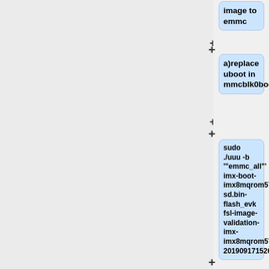[Figure (flowchart): Partial flowchart showing steps for flashing eMMC on i.MX8MQ ROM5720A1 board. Visible nodes include: 'image to emmc', 'a) replace uboot in mmcblk0boot0', a command node 'sudo ./uuu -b emmc_all imx-boot-imx8mqrom5720a1-sd.bin-flash_evk fsl-image-validation-imx-imx8mqrom5720a1-20190917152605.rootfs.sdcard', 'b) replace uboot in mmcblk0', and a partial 'sudo ./uuu' node at bottom.]